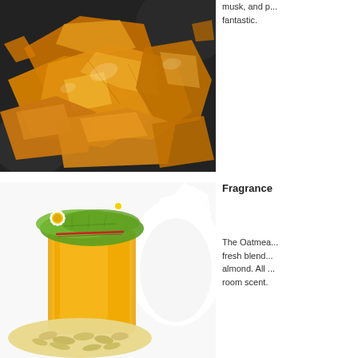[Figure (photo): Close-up photograph of golden amber resin chunks piled together on a dark decorative background]
musk, and p... fantastic.
[Figure (photo): Photograph of a honey jar wrapped in green leaf and daisy flower decoration, with oats and splashing milk in the background]
Fragrance
The Oatmea... fresh blend... almond. All ... room scent.